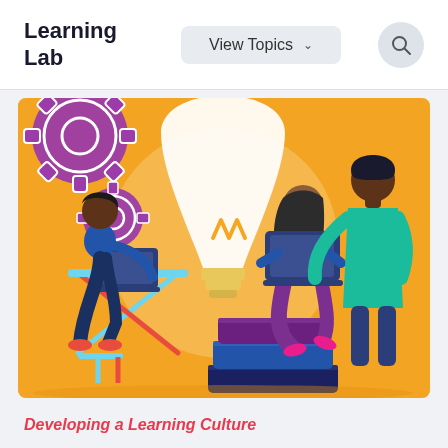Learning Lab
View Topics
[Figure (illustration): Colorful illustration showing people working and learning: a person sitting at a desk with a laptop, a large glowing light bulb in the center, purple gear icons on the left, and two people (a woman sitting on stacked books with a laptop, and a tall man in teal standing behind her) on the right. Orange/yellow background with a circular lighter area behind the bulb.]
Developing a Learning Culture